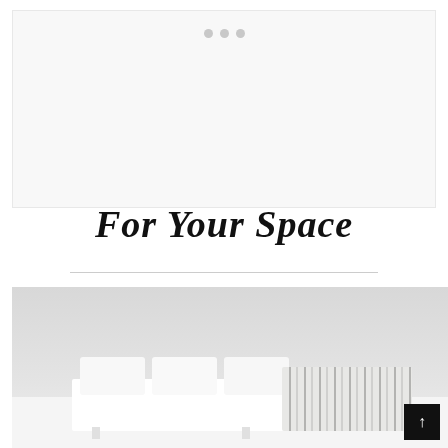[Figure (photo): Light gray placeholder image area with three gray dots at the top center, representing a carousel or slideshow of images]
For Your Space
[Figure (photo): Minimalist bedroom photo showing a white sofa/bed with white pillows and a black and white striped textile/blanket draped over it, against a gray wall background]